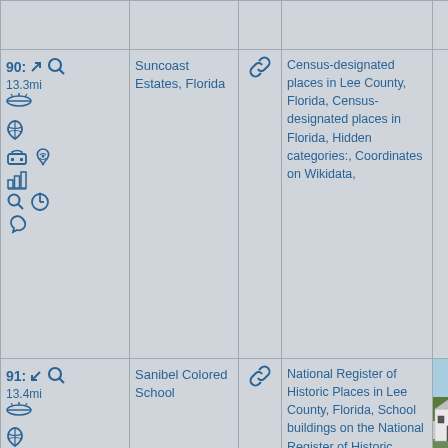| Icons/Nav | Place Name | Link | Categories | Photo |
| --- | --- | --- | --- | --- |
| 90: 13.3mi [icons] | Suncoast Estates, Florida | [link] | Census-designated places in Lee County, Florida, Census-designated places in Florida, Hidden categories:, Coordinates on Wikidata, |  |
| 91: 13.4mi [icons] | Sanibel Colored School | [link] | National Register of Historic Places in Lee County, Florida, School buildings on the National Register of Historic Places in Florida, Southwest Florida Registered Historic | [photo] |